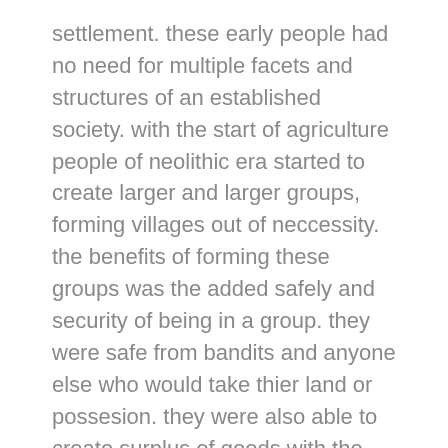settlement. these early people had no need for multiple facets and structures of an established society. with the start of agriculture people of neolithic era started to create larger and larger groups, forming villages out of neccessity. the benefits of forming these groups was the added safely and security of being in a group. they were safe from bandits and anyone else who would take thier land or possesion. they were also able to create surplus of goods with the amount of forms in the settlement. the surplus of goods enabled trade of good and with trade came prosperity. with the change of their dynamic froup, they needed to change how they made decisions and governed themselves. they needed new laws and ways to enforce these laws. out of this need a centralized "government" was established. creation of these